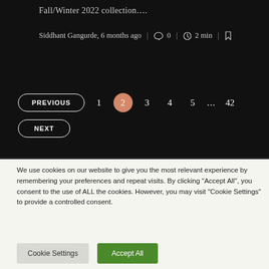Fall/Winter 2022 collection….
Siddhant Gangurde, 6 months ago | 0 | 2 min |
PREVIOUS 1 2 3 4 5 ... 42 NEXT
We use cookies on our website to give you the most relevant experience by remembering your preferences and repeat visits. By clicking “Accept All”, you consent to the use of ALL the cookies. However, you may visit "Cookie Settings" to provide a controlled consent.
Cookie Settings | Accept All